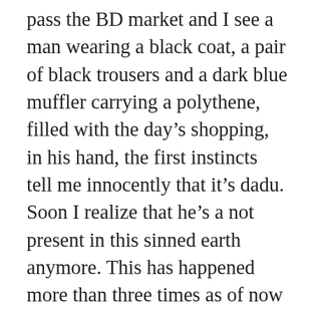pass the BD market and I see a man wearing a black coat, a pair of black trousers and a dark blue muffler carrying a polythene, filled with the day's shopping, in his hand, the first instincts tell me innocently that it's dadu. Soon I realize that he's a not present in this sinned earth anymore. This has happened more than three times as of now and every time it happens, my eyes start to glisten and just then I want to control myself because I think that it funny and I don't want to be laughed at. The funny thing is that my eyes did not get